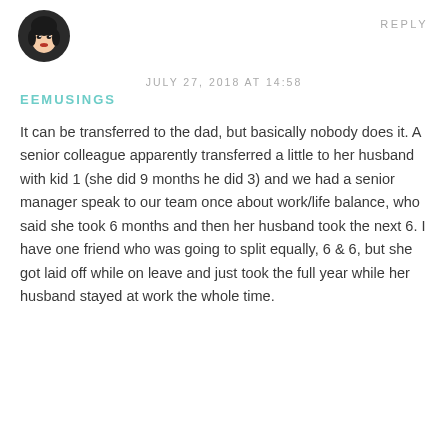[Figure (illustration): Circular avatar of an animated woman with black hair and red lips]
REPLY
JULY 27, 2018 AT 14:58
EEMUSINGS
It can be transferred to the dad, but basically nobody does it. A senior colleague apparently transferred a little to her husband with kid 1 (she did 9 months he did 3) and we had a senior manager speak to our team once about work/life balance, who said she took 6 months and then her husband took the next 6. I have one friend who was going to split equally, 6 & 6, but she got laid off while on leave and just took the full year while her husband stayed at work the whole time.